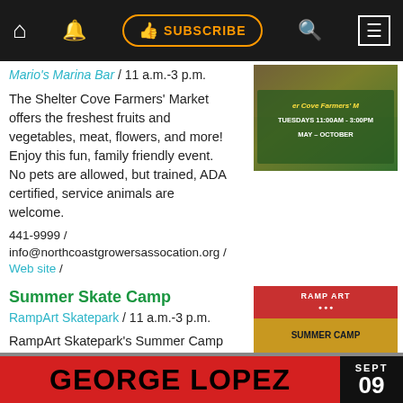Navigation bar with home, bell, SUBSCRIBE, search, and menu icons
Mario's Marina Bar / 11 a.m.-3 p.m.
The Shelter Cove Farmers' Market offers the freshest fruits and vegetables, meat, flowers, and more! Enjoy this fun, family friendly event. No pets are allowed, but trained, ADA certified, service animals are welcome.
441-9999 / info@northcoastgrowersassocation.org / Web site /
[Figure (photo): Shelter Cove Farmers' Market promotional image with text: Tuesdays 11:00am - 3:00pm May - October]
Summer Skate Camp
RampArt Skatepark / 11 a.m.-3 p.m.
RampArt Skatepark's Summer Camp is in full swing! Reach out
[Figure (photo): RampArt Skatepark Summer Camp promotional poster with group photo]
[Figure (infographic): George Lopez advertisement - SEPT 09]